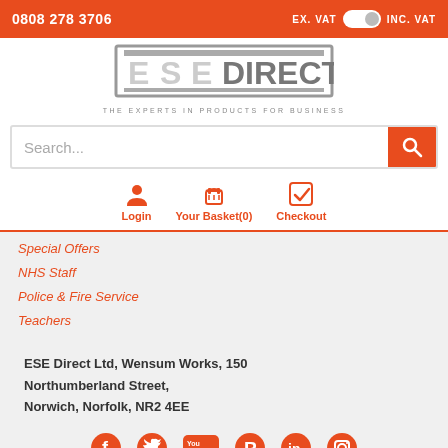0808 278 3706   EX. VAT  [toggle]  INC. VAT
[Figure (logo): ESE Direct logo with tagline: THE EXPERTS IN PRODUCTS FOR BUSINESS]
Search...
Login
Your Basket(0)
Checkout
Special Offers
NHS Staff
Police & Fire Service
Teachers
ESE Direct Ltd, Wensum Works, 150 Northumberland Street, Norwich, Norfolk, NR2 4EE
[Figure (logo): Social media icons row: Facebook, Twitter, YouTube, Pinterest, LinkedIn, Instagram]